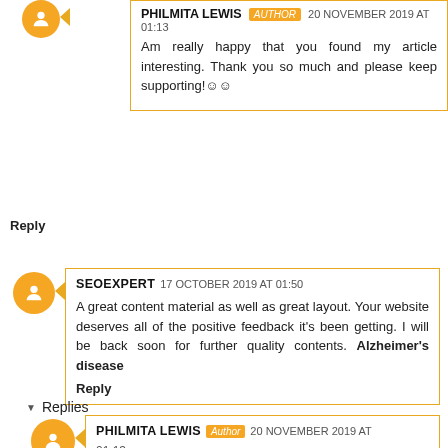PHILMITA LEWIS Author 20 NOVEMBER 2019 AT 01:13
Am really happy that you found my article interesting. Thank you so much and please keep supporting!😊😊
Reply
SEOEXPERT 17 OCTOBER 2019 AT 01:50
A great content material as well as great layout. Your website deserves all of the positive feedback it's been getting. I will be back soon for further quality contents. Alzheimer's disease
Reply
Replies
PHILMITA LEWIS Author 20 NOVEMBER 2019 AT 01:13